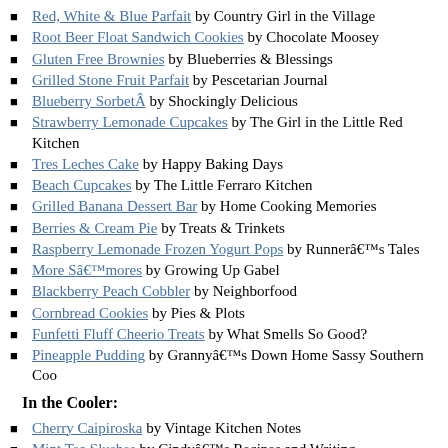Red, White & Blue Parfait by Country Girl in the Village
Root Beer Float Sandwich Cookies by Chocolate Moosey
Gluten Free Brownies by Blueberries & Blessings
Grilled Stone Fruit Parfait by Pescetarian Journal
Blueberry SorbetÂ by Shockingly Delicious
Strawberry Lemonade Cupcakes by The Girl in the Little Red Kitchen
Tres Leches Cake by Happy Baking Days
Beach Cupcakes by The Little Ferraro Kitchen
Grilled Banana Dessert Bar by Home Cooking Memories
Berries & Cream Pie by Treats & Trinkets
Raspberry Lemonade Frozen Yogurt Pops by Runnerâ€™s Tales
More Sâ€™mores by Growing Up Gabel
Blackberry Peach Cobbler by Neighborfood
Cornbread Cookies by Pies & Plots
Funfetti Fluff Cheerio Treats by What Smells So Good?
Pineapple Pudding by Grannyâ€™s Down Home Sassy Southern Coo
In the Cooler:
Cherry Caipiroska by Vintage Kitchen Notes
Mint Tea Slushes by Cindyâ€™s Recipes and Writing